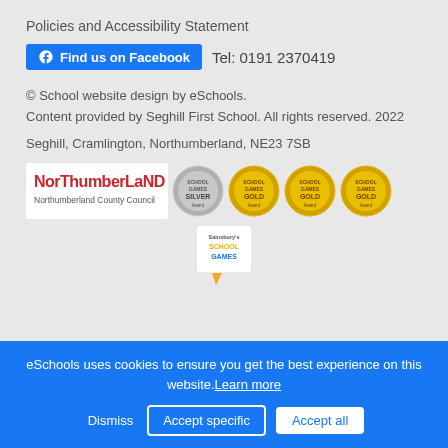Policies and Accessibility Statement
Find us on Facebook   Tel: 0191 2370419
© School website design by eSchools.
Content provided by Seghill First School. All rights reserved. 2022
Seghill, Cramlington, Northumberland, NE23 7SB
[Figure (logo): Northumberland County Council logo (red text) alongside School Games Silver Award and three School Games Gold Award badges]
[Figure (logo): School Games logo with speech bubble design]
eSchools uses cookies to ensure you get the best experience on this website. Learn more
Dismiss   Accept specific   Accept all